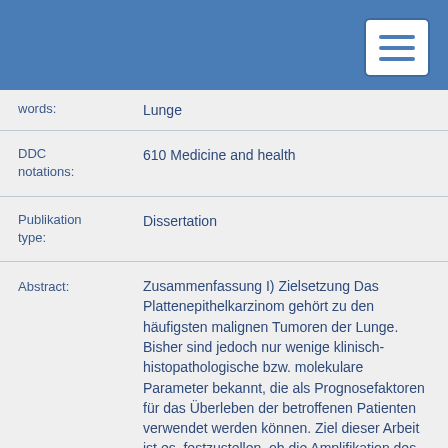| Field | Value |
| --- | --- |
| words: | Lunge |
| DDC notations: | 610 Medicine and health |
| Publikation type: | Dissertation |
| Abstract: | Zusammenfassung I) Zielsetzung Das Plattenepithelkarzinom gehört zu den häufigsten malignen Tumoren der Lunge. Bisher sind jedoch nur wenige klinisch-histopathologische bzw. molekulare Parameter bekannt, die als Prognosefaktoren für das Überleben der betroffenen Patienten verwendet werden können. Ziel dieser Arbeit ist es, festzustellen, ob die Amplifikation des Fibroblasten-Wachstums-Faktor-Rezeptor 1 Gens sowie die in der Fachliteratur als „Driver"-Mutationen beschriebe-nen Punktmutationen K660E und K660N im Gen des Fibroblasten-Wachstums |